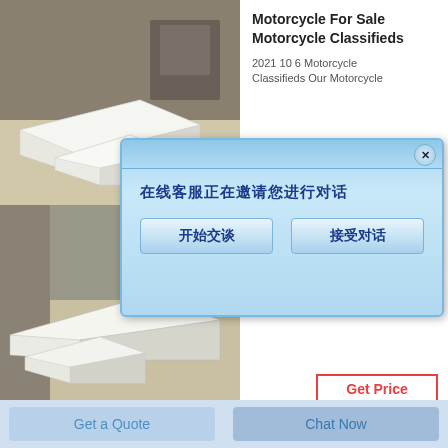[Figure (photo): Photo of white cardboard box mockups on a table against a dark background]
Motorcycle For Sale Motorcycle Classifieds
2021 10 6 Motorcycle Classifieds Our Motorcycle
Get Price
[Figure (photo): Photo of white cardboard box packaging on a surface]
ppies for Sale
2021 / 21 Are you Searching for a healthy teacup puppy for
Get Price
[Figure (screenshot): Chinese chat popup dialog with text asking user to begin a conversation, with two buttons: 开始交谈 (Start Chat) and 接受对话 (Accept Chat)]
Get a Quote
Chat Now